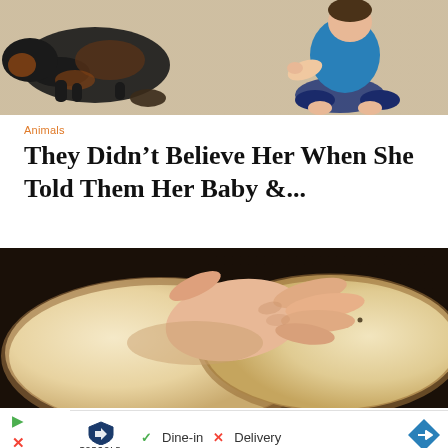[Figure (photo): A dog and a small child sitting on a light-colored carpet or floor, viewed from above. The child is dressed in blue clothing.]
Animals
They Didn’t Believe Her When She Told Them Her Baby &...
[Figure (photo): A close-up photo of a hand pressing down on two slices of white bread on a dark surface, making a sandwich.]
[Figure (screenshot): Advertisement from Topgolf showing Dine-in with green checkmark and Delivery with red X, plus a blue navigation arrow button. Below are a green play button and a red X button.]